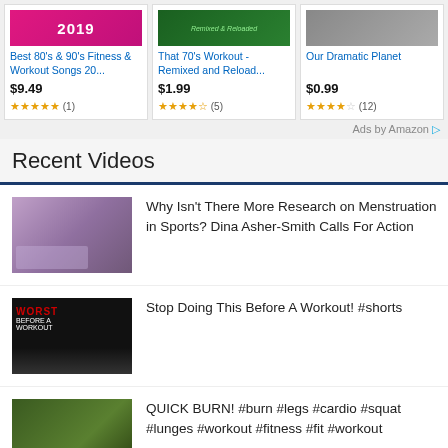[Figure (screenshot): Ad product image 1 - fitness songs 2019 pink cover]
Best 80's & 90's Fitness & Workout Songs 20...
$9.49
★★★★★ (1)
[Figure (screenshot): Ad product image 2 - That 70's Workout Remixed and Reloaded green cover]
That 70's Workout - Remixed and Reload...
$1.99
★★★★☆ (5)
[Figure (screenshot): Ad product image 3 - Our Dramatic Planet]
Our Dramatic Planet
$0.99
★★★★☆ (12)
Ads by Amazon ▷
Recent Videos
[Figure (photo): Thumbnail of female athlete runner in purple/lavender outfit]
Why Isn't There More Research on Menstruation in Sports? Dina Asher-Smith Calls For Action
[Figure (screenshot): Thumbnail with red and black workout text overlay - WORST workout]
Stop Doing This Before A Workout! #shorts
[Figure (photo): Thumbnail of person in nature/forest setting]
QUICK BURN! #burn #legs #cardio #squat #lunges #workout #fitness #fit #workout